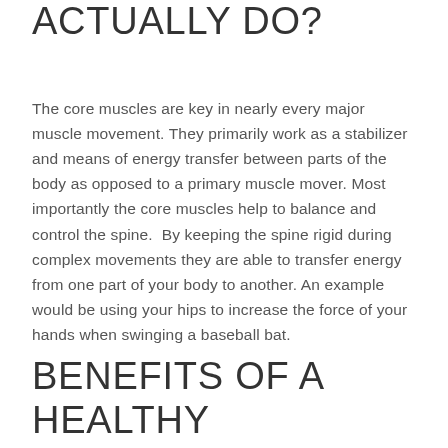ACTUALLY DO?
The core muscles are key in nearly every major muscle movement. They primarily work as a stabilizer and means of energy transfer between parts of the body as opposed to a primary muscle mover. Most importantly the core muscles help to balance and control the spine.  By keeping the spine rigid during complex movements they are able to transfer energy from one part of your body to another. An example would be using your hips to increase the force of your hands when swinging a baseball bat.
BENEFITS OF A HEALTHY CORE